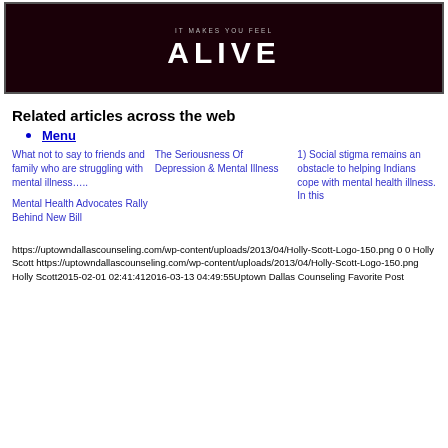[Figure (photo): Dark background image with text 'ALIVE' in large white letters and smaller text above it, bordered.]
Related articles across the web
Menu
What not to say to friends and family who are struggling with mental illness…...
The Seriousness Of Depression & Mental Illness
1) Social stigma remains an obstacle to helping Indians cope with mental health illness. In this
Mental Health Advocates Rally Behind New Bill
https://uptowndallascounseling.com/wp-content/uploads/2013/04/Holly-Scott-Logo-150.png 0 0 Holly Scott https://uptowndallascounseling.com/wp-content/uploads/2013/04/Holly-Scott-Logo-150.png Holly Scott2015-02-01 02:41:412016-03-13 04:49:55Uptown Dallas Counseling Favorite Post